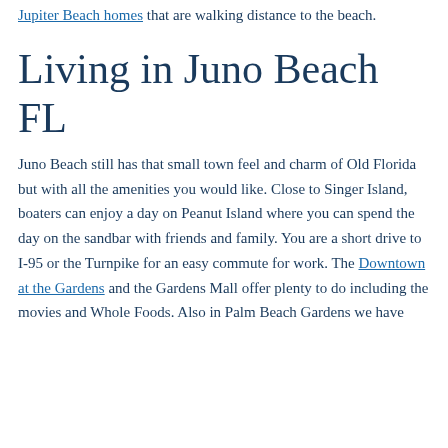Jupiter Beach homes that are walking distance to the beach.
Living in Juno Beach FL
Juno Beach still has that small town feel and charm of Old Florida but with all the amenities you would like. Close to Singer Island, boaters can enjoy a day on Peanut Island where you can spend the day on the sandbar with friends and family. You are a short drive to I-95 or the Turnpike for an easy commute for work. The Downtown at the Gardens and the Gardens Mall offer plenty to do including the movies and Whole Foods. Also in Palm Beach Gardens we have